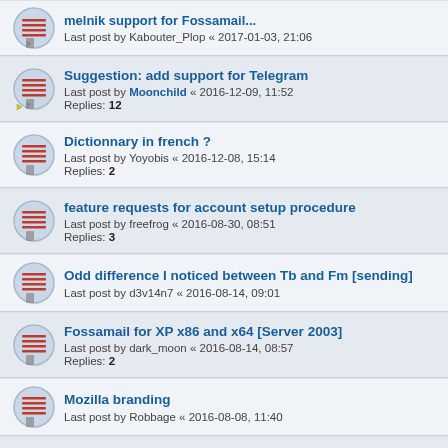melnik support for Fossamail... Last post by Kabouter_Plop « 2017-01-03, 21:06
Suggestion: add support for Telegram Last post by Moonchild « 2016-12-09, 11:52 Replies: 12
Dictionnary in french ? Last post by Yoyobis « 2016-12-08, 15:14 Replies: 2
feature requests for account setup procedure Last post by freefrog « 2016-08-30, 08:51 Replies: 3
Odd difference I noticed between Tb and Fm [sending] Last post by d3v14n7 « 2016-08-14, 09:01
Fossamail for XP x86 and x64 [Server 2003] Last post by dark_moon « 2016-08-14, 08:57 Replies: 2
Mozilla branding Last post by Robbage « 2016-08-08, 11:40
Full colored emojis in FossaMail Last post by Moonchild « 2016-07-21, 08:57 Replies: 6
RSS feeds icons Last post by Moonchild « 2016-07-13, 08:58 Replies: 13
Suggestion: Taskbar icon change for new email notifications Last post by Moonchild « 2016-05-13, 01:28